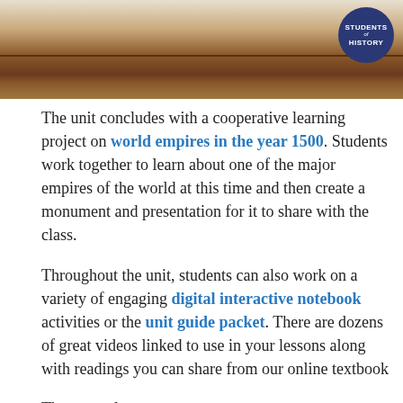[Figure (photo): A painting or illustration showing a landscape with brown earth and a figure, with a 'Students of History' badge logo in the top-right corner.]
The unit concludes with a cooperative learning project on world empires in the year 1500. Students work together to learn about one of the major empires of the world at this time and then create a monument and presentation for it to share with the class.
Throughout the unit, students can also work on a variety of engaging digital interactive notebook activities or the unit guide packet. There are dozens of great videos linked to use in your lessons along with readings you can share from our online textbook
There are also...